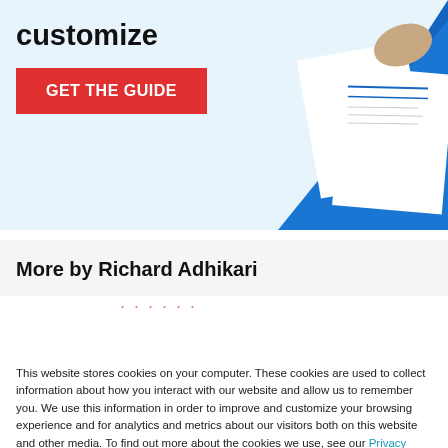customize
[Figure (illustration): Red 'GET THE GUIDE' button on light blue background with document/paper illustration on the right side showing a resume-style document with blue and white colors]
More by Richard Adhikari
This website stores cookies on your computer. These cookies are used to collect information about how you interact with our website and allow us to remember you. We use this information in order to improve and customize your browsing experience and for analytics and metrics about our visitors both on this website and other media. To find out more about the cookies we use, see our Privacy Policy. California residents have the right to direct us not to sell their personal information to third parties by filing an Opt-Out Request: Do Not Sell My Personal Info.